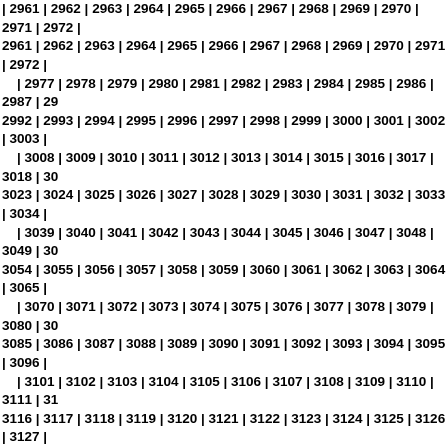2961 | 2962 | 2963 | 2964 | 2965 | 2966 | 2967 | 2968 | 2969 | 2970 | 2971 | 2972 | 2977 | 2978 | 2979 | 2980 | 2981 | 2982 | 2983 | 2984 | 2985 | 2986 | 2987 | 2992 | 2993 | 2994 | 2995 | 2996 | 2997 | 2998 | 2999 | 3000 | 3001 | 3002 | 3003 | 3008 | 3009 | 3010 | 3011 | 3012 | 3013 | 3014 | 3015 | 3016 | 3017 | 3018 | 3023 | 3024 | 3025 | 3026 | 3027 | 3028 | 3029 | 3030 | 3031 | 3032 | 3033 | 3034 | 3039 | 3040 | 3041 | 3042 | 3043 | 3044 | 3045 | 3046 | 3047 | 3048 | 3049 | 3054 | 3055 | 3056 | 3057 | 3058 | 3059 | 3060 | 3061 | 3062 | 3063 | 3064 | 3065 | 3070 | 3071 | 3072 | 3073 | 3074 | 3075 | 3076 | 3077 | 3078 | 3079 | 3080 | 3085 | 3086 | 3087 | 3088 | 3089 | 3090 | 3091 | 3092 | 3093 | 3094 | 3095 | 3096 | 3101 | 3102 | 3103 | 3104 | 3105 | 3106 | 3107 | 3108 | 3109 | 3110 | 3111 | 3116 | 3117 | 3118 | 3119 | 3120 | 3121 | 3122 | 3123 | 3124 | 3125 | 3126 | 3127 | 3132 | 3133 | 3134 | 3135 | 3136 | 3137 | 3138 | 3139 | 3140 | 3141 | 3142 | 3147 | 3148 | 3149 | 3150 | 3151 | 3152 | 3153 | 3154 | 3155 | 3156 | 3157 | 3158 | 3163 | 3164 | 3165 | 3166 | 3167 | 3168 | 3169 | 3170 | 3171 | 3172 | 3173 | 3178 | 3179 | 3180 | 3181 | 3182 | 3183 | 3184 | 3185 | 3186 | 3187 | 3188 | 3189 | 3194 | 3195 | 3196 | 3197 | 3198 | 3199 | 3200 | 3201 | 3202 | 3203 | 3204 | 3209 | 3210 | 3211 | 3212 | 3213 | 3214 | 3215 | 3216 | 3217 | 3218 | 3219 | 3220 | 3225 | 3226 | 3227 | 3228 | 3229 | 3230 | 3231 | 3232 | 3233 | 3234 | 3235 | 3240 | 3241 | 3242 | 3243 | 3244 | 3245 | 3246 | 3247 | 3248 | 3249 | 3250 | 3251 | 3256 | 3257 | 3258 | 3259 | 3260 | 3261 | 3262 | 3263 | 3264 | 3265 | 3266 | 3271 | 3272 | 3273 | 3274 | 3275 | 3276 | 3277 | 3278 | 3279 | 3280 | 3281 | 3282 | 3287 | 3288 | 3289 | 3290 | 3291 | 3292 | 3293 | 3294 | 3295 | 3296 | 3297 | 3302 | 3303 | 3304 | 3305 | 3306 | 3307 | 3308 | 3309 | 3310 | 3311 | 3312 | 3313 | 3318 | 3319 | 3320 | 3321 | 3322 | 3323 | 3324 | 3325 | 3326 | 3327 | 3328 | 3333 | 3334 | 3335 | 3336 | 3337 | 3338 | 3339 | 3340 | 3341 | 3342 | 3343 | 3344 | 3349 | 3350 | 3351 | 3352 | 3353 | 3354 | 3355 | 3356 | 3357 | 3358 | 3359 | 3364 | 3365 | 3366 | 3367 | 3368 | 3369 | 3370 | 3371 | 3372 | 3373 | 3374 | 3375 | 3380 | 3381 | 3382 | 3383 | 3384 | 3385 | 3386 | 3387 | 3388 | 3389 | 3390 | 3395 | 3396 | 3397 | 3398 | 3399 | 3400 | 3401 | 3402 | 3403 | 3404 | 3405 | 3406 | 3411 | 3412 | 3413 | 3414 | 3415 | 3416 | 3417 | 3418 | 3419 | 3420 | 3421 | 3426 | 3427 | 3428 | 3429 | 3430 | 3431 | 3432 | 3433 | 3434 | 3435 | 3436 | 3437 | 3442 | 3443 | 3444 | 3445 | 3446 | 3447 | 3448 | 3449 | 3450 | 3451 | 3452